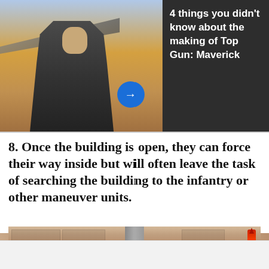[Figure (screenshot): Advertisement banner showing a person in military/flight gear with jet aircraft in background, with 'We Are The Mighty' logo. Right side has dark background with text about Top Gun: Maverick. Blue arrow button visible.]
4 things you didn't know about the making of Top Gun: Maverick
8. Once the building is open, they can force their way inside but will often leave the task of searching the building to the infantry or other maneuver units.
[Figure (photo): Photo of a stone/brick wall building with what appears to be a rocket or missile visible on the right side.]